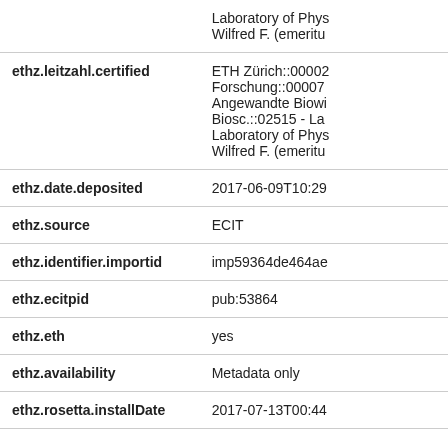| Field | Value |
| --- | --- |
|  | Laboratory of Phys
Wilfred F. (emeritu |
| ethz.leitzahl.certified | ETH Zürich::00002
Forschung::00007
Angewandte Biowi
Biosc.::02515 - La
Laboratory of Phys
Wilfred F. (emeritu |
| ethz.date.deposited | 2017-06-09T10:29 |
| ethz.source | ECIT |
| ethz.identifier.importid | imp59364de464ae |
| ethz.ecitpid | pub:53864 |
| ethz.eth | yes |
| ethz.availability | Metadata only |
| ethz.rosetta.installDate | 2017-07-13T00:44 |